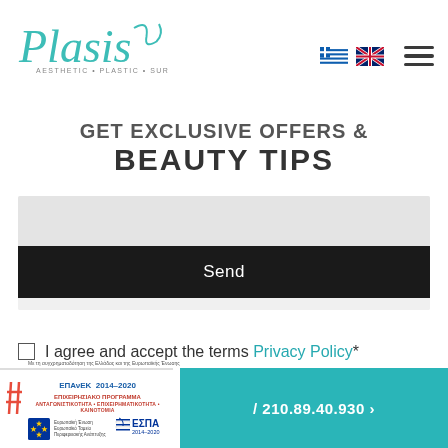Plasis Aesthetic Plastic Surgery
BEAUTY TIPS
Send
I agree and accept the terms Privacy Policy*
[Figure (logo): EPAvEK 2014-2020 ESPA EU funding logo banner]
210.89.40.930